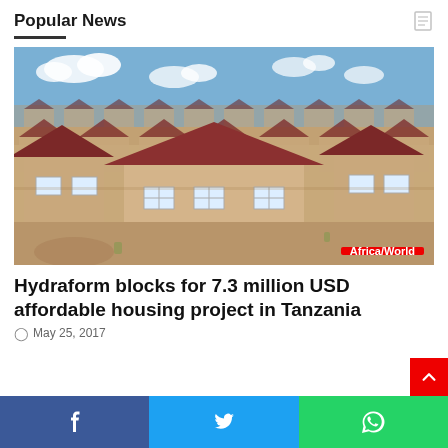Popular News
[Figure (photo): Aerial view of a housing development with rows of small single-story homes with dark red/brown roofs, set on sandy/earthen lots. Africa/World badge in bottom right corner.]
Hydraform blocks for 7.3 million USD affordable housing project in Tanzania
May 25, 2017